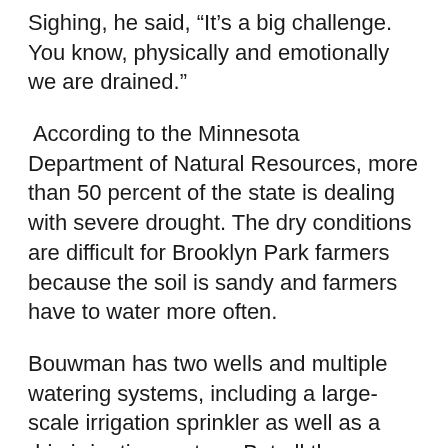Sighing, he said, “It’s a big challenge. You know, physically and emotionally we are drained.”
According to the Minnesota Department of Natural Resources, more than 50 percent of the state is dealing with severe drought. The dry conditions are difficult for Brooklyn Park farmers because the soil is sandy and farmers have to water more often.
Bouwman has two wells and multiple watering systems, including a large-scale irrigation sprinkler as well as a drip irrigation system. But all the watering to keep the crops green adds to his costs.
“I’m paying about 20 percent more this year,” he said.
The Brooklyn Park farmer says the excessive heat is causing corn to grow faster and produces a